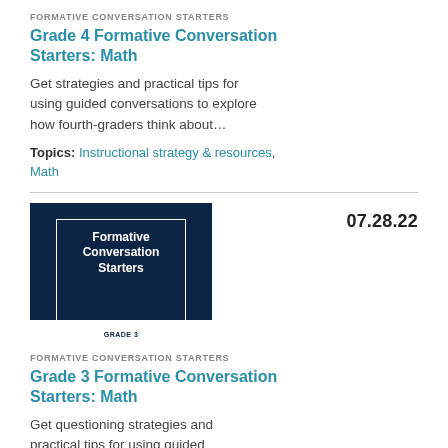FORMATIVE CONVERSATION STARTERS
Grade 4 Formative Conversation Starters: Math
Get strategies and practical tips for using guided conversations to explore how fourth-graders think about…
Topics: Instructional strategy & resources, Math
[Figure (illustration): Dark navy blue thumbnail image with white border containing text 'Formative Conversation Starters' and 'GRADE 3' label with green stripe at bottom]
07.28.22
FORMATIVE CONVERSATION STARTERS
Grade 3 Formative Conversation Starters: Math
Get questioning strategies and practical tips for using guided